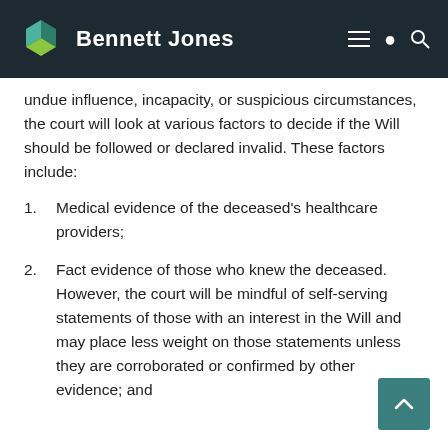Bennett Jones
undue influence, incapacity, or suspicious circumstances, the court will look at various factors to decide if the Will should be followed or declared invalid. These factors include:
Medical evidence of the deceased's healthcare providers;
Fact evidence of those who knew the deceased. However, the court will be mindful of self-serving statements of those with an interest in the Will and may place less weight on those statements unless they are corroborated or confirmed by other evidence; and